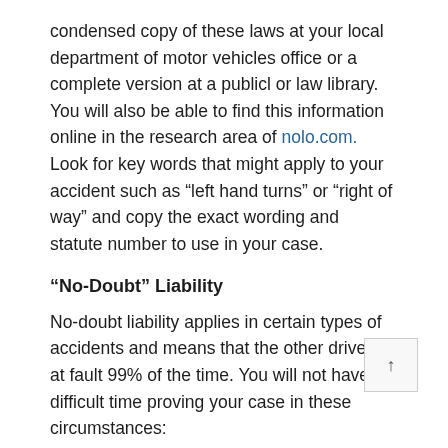condensed copy of these laws at your local department of motor vehicles office or a complete version at a publicl or law library. You will also be able to find this information online in the research area of nolo.com. Look for key words that might apply to your accident such as “left hand turns” or “right of way” and copy the exact wording and statute number to use in your case.
“No-Doubt” Liability
No-doubt liability applies in certain types of accidents and means that the other driver is at fault 99% of the time. You will not have a difficult time proving your case in these circumstances:
Rear-End Collision